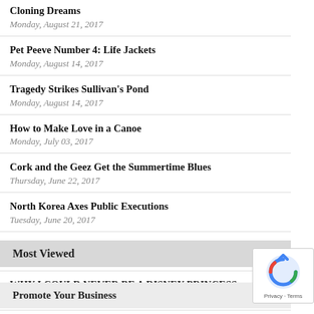Cloning Dreams
Monday, August 21, 2017
Pet Peeve Number 4: Life Jackets
Monday, August 14, 2017
Tragedy Strikes Sullivan's Pond
Monday, August 14, 2017
How to Make Love in a Canoe
Monday, July 03, 2017
Cork and the Geez Get the Summertime Blues
Thursday, June 22, 2017
North Korea Axes Public Executions
Tuesday, June 20, 2017
Senior Duffers Rules of Golf
Sunday, June 18, 2017
WHY I COULD NEVER BE A DISNEY PRINCESS
Thursday, March 30, 2017
The Day Chuck Berry Changed His Mind
Monday, March 27, 2017
Most Viewed
Promote Your Business